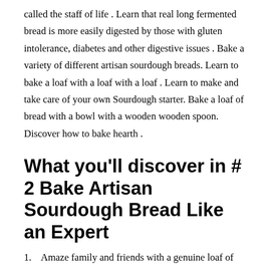called the staff of life . Learn that real long fermented bread is more easily digested by those with gluten intolerance, diabetes and other digestive issues . Bake a variety of different artisan sourdough breads. Learn to bake a loaf with a loaf with a loaf . Learn to make and take care of your own Sourdough starter. Bake a loaf of bread with a bowl with a wooden wooden spoon. Discover how to bake hearth .
What you'll discover in # 2 Bake Artisan Sourdough Bread Like an Expert
Amaze family and friends with a genuine loaf of crusty,